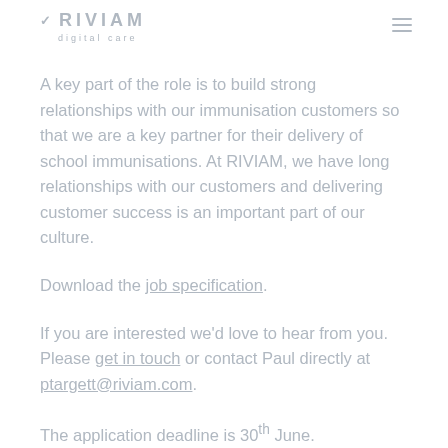RIVIAM digital care
A key part of the role is to build strong relationships with our immunisation customers so that we are a key partner for their delivery of school immunisations. At RIVIAM, we have long relationships with our customers and delivering customer success is an important part of our culture.
Download the job specification.
If you are interested we'd love to hear from you. Please get in touch or contact Paul directly at ptargett@riviam.com.
The application deadline is 30th June.